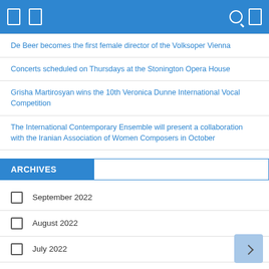[navigation icons]
De Beer becomes the first female director of the Volksoper Vienna
Concerts scheduled on Thursdays at the Stonington Opera House
Grisha Martirosyan wins the 10th Veronica Dunne International Vocal Competition
The International Contemporary Ensemble will present a collaboration with the Iranian Association of Women Composers in October
ARCHIVES
September 2022
August 2022
July 2022